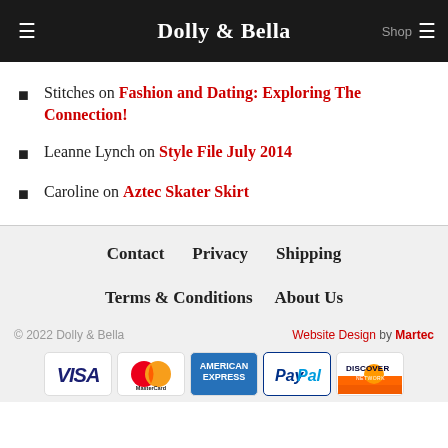Dolly & Bella
Stitches on Fashion and Dating: Exploring The Connection!
Leanne Lynch on Style File July 2014
Caroline on Aztec Skater Skirt
Contact   Privacy   Shipping   Terms & Conditions   About Us   © 2022 Dolly & Bella   Website Design by Martec